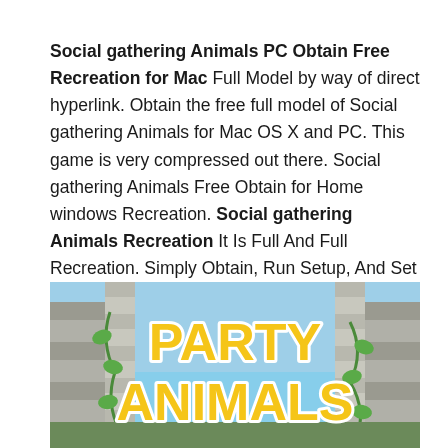Social gathering Animals PC Obtain Free Recreation for Mac Full Model by way of direct hyperlink. Obtain the free full model of Social gathering Animals for Mac OS X and PC. This game is very compressed out there. Social gathering Animals Free Obtain for Home windows Recreation. Social gathering Animals Recreation It Is Full And Full Recreation. Simply Obtain, Run Setup, And Set up.
[Figure (photo): Party Animals game logo/title screen showing large stylized text 'PARTY ANIMALS' in yellow/gold letters with white outlines, set against stone ruins with tropical vegetation and a blue sky background.]